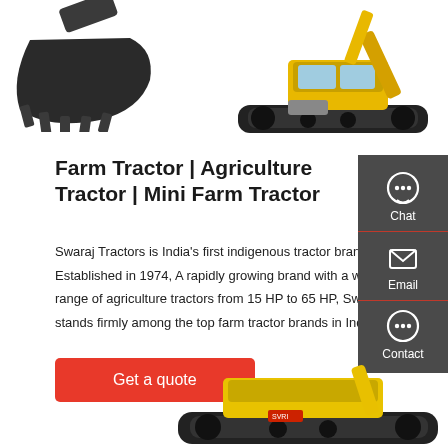[Figure (photo): Partial view of an excavator bucket/attachment on the left and a full yellow excavator on the right, top of page]
Farm Tractor | Agriculture Tractor | Mini Farm Tractor
Swaraj Tractors is India's first indigenous tractor brand. Established in 1974, A rapidly growing brand with a wide range of agriculture tractors from 15 HP to 65 HP, Swaraj stands firmly among the top farm tractor brands in India.
[Figure (screenshot): Right sidebar with Chat, Email, Contact icons on dark grey background]
[Figure (photo): Partial view of a yellow excavator at the bottom right of the page]